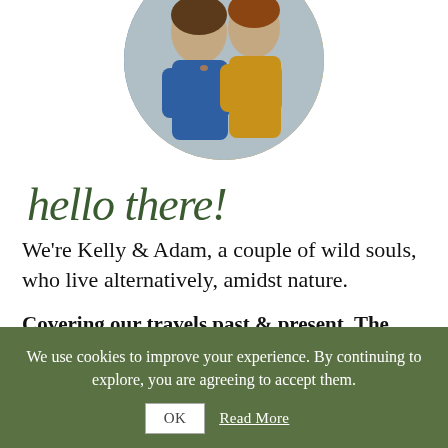[Figure (photo): Circular cropped photo of two people, one wearing a blue jacket and one wearing a yellow/mustard jacket, outdoors in nature]
hello there!
We're Kelly & Adam, a couple of wild souls, who live alternatively, amidst nature.
Covering our travels past & present, The Wilder Route brings you our experience & advice. Our passion lies in helping free-spirited folk like you to explore more & to
We use cookies to improve your experience. By continuing to explore, you are agreeing to accept them.
OK  Read More